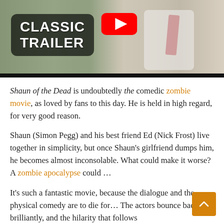[Figure (screenshot): YouTube video thumbnail for Shaun of the Dead 'Classic Trailer'. Shows a man in a white shirt and red tie in front of a crowd. Large YouTube play button at top center. 'CLASSIC TRAILER' text in white bold on dark rounded rectangle overlay at top left. Black bar along bottom.]
Shaun of the Dead is undoubtedly the comedic zombie movie, as loved by fans to this day. He is held in high regard, for very good reason.
Shaun (Simon Pegg) and his best friend Ed (Nick Frost) live together in simplicity, but once Shaun's girlfriend dumps him, he becomes almost inconsolable. What could make it worse? A zombie apocalypse could ...
It's such a fantastic movie, because the dialogue and the physical comedy are to die for… The actors bounce back brilliantly, and the hilarity that follows